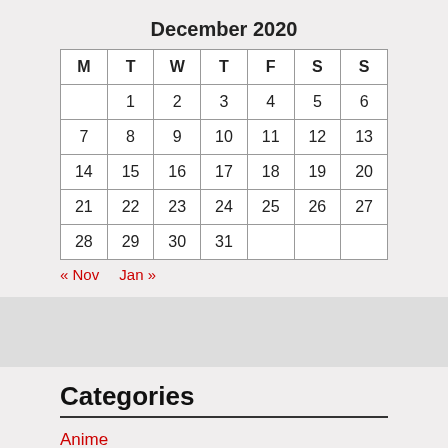December 2020
| M | T | W | T | F | S | S |
| --- | --- | --- | --- | --- | --- | --- |
|  | 1 | 2 | 3 | 4 | 5 | 6 |
| 7 | 8 | 9 | 10 | 11 | 12 | 13 |
| 14 | 15 | 16 | 17 | 18 | 19 | 20 |
| 21 | 22 | 23 | 24 | 25 | 26 | 27 |
| 28 | 29 | 30 | 31 |  |  |  |
« Nov   Jan »
Categories
Anime